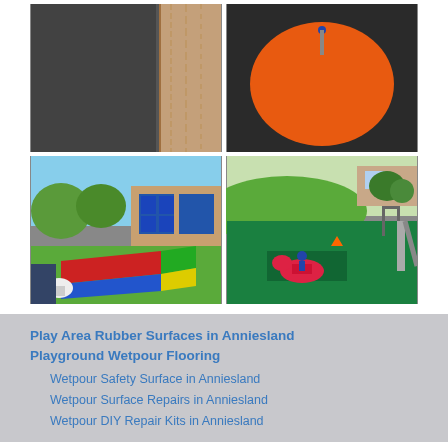[Figure (photo): Close-up of dark grey rubber surface meeting light wooden decking]
[Figure (photo): Overhead view of orange circle on dark rubber playground surface with a post/spinner in the center]
[Figure (photo): Aerial view of school playground with colorful rubber mats (red, blue, green, yellow) and a building with blue windows]
[Figure (photo): Aerial view of green rubber playground surface with play equipment, a spring horse toy, and a slide]
Play Area Rubber Surfaces in Anniesland Playground Wetpour Flooring
Wetpour Safety Surface in Anniesland
Wetpour Surface Repairs in Anniesland
Wetpour DIY Repair Kits in Anniesland